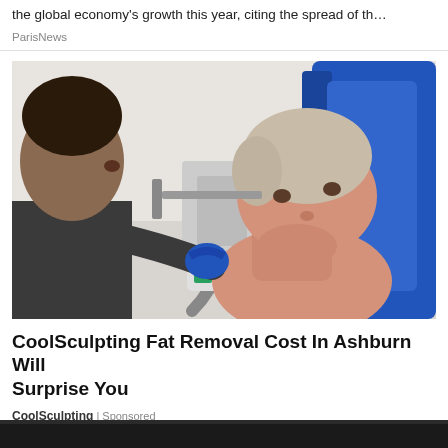the global economy's growth this year, citing the spread of th…
ParisNews
[Figure (photo): A healthcare professional applying a CoolSculpting device to the chin/neck area of a female patient who is reclining in a blue chair. The practitioner is wearing blue gloves and a dark top.]
CoolSculpting Fat Removal Cost In Ashburn Will Surprise You
CoolSculpting | Sponsored
[Figure (photo): Bottom strip showing a dark background, partially visible.]